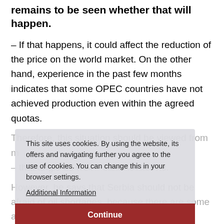remains to be seen whether that will happen.
– If that happens, it could affect the reduction of the price on the world market. On the other hand, experience in the past few months indicates that some OPEC countries have not achieved production even within the agreed quotas.
Therefore, this situation should be viewed from that angle as well – said Kovacevic.
However, he says that Serbia should not be afraid of oil shortages, because there are some alternatives for Russia, which is cheaper, to reach Serbia.
– The question is whether a certain amount of oil can be supplied through the Russian oil pipeline
This site uses cookies. By using the website, its offers and navigating further you agree to the use of cookies. You can change this in your browser settings.
Additional Information
Continue